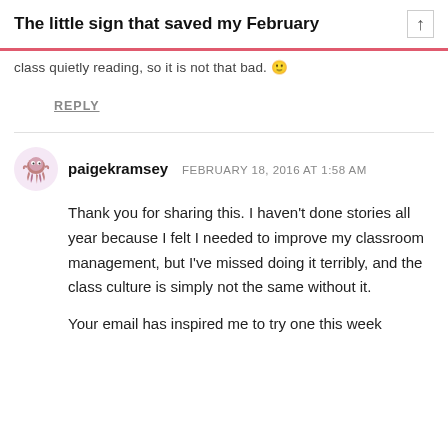The little sign that saved my February
class quietly reading, so it is not that bad. 🙂
REPLY
paigekramsey  FEBRUARY 18, 2016 AT 1:58 AM
Thank you for sharing this. I haven't done stories all year because I felt I needed to improve my classroom management, but I've missed doing it terribly, and the class culture is simply not the same without it.
Your email has inspired me to try one this week